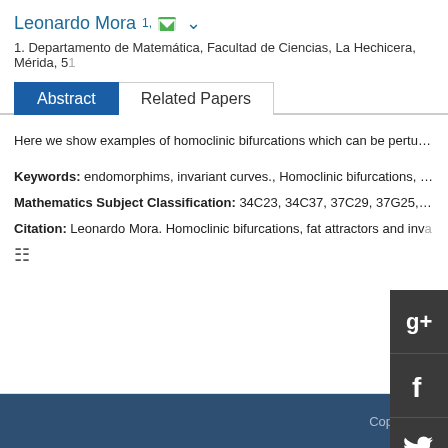Leonardo Mora 1,✉ ⌄
1. Departamento de Matemática, Facultad de Ciencias, La Hechicera, Mérida, 5...
Abstract | Related Papers
Here we show examples of homoclinic bifurcations which can be perturbed to pr...
Keywords: endomorphims, invariant curves., Homoclinic bifurcations, Ha...
Mathematics Subject Classification: 34C23, 34C37, 37C29, 37G25, 3...
Citation: Leonardo Mora. Homoclinic bifurcations, fat attractors and inva...
[Figure (other): Social share sidebar with Google+, Facebook, Twitter, LinkedIn icons]
Copyright ©